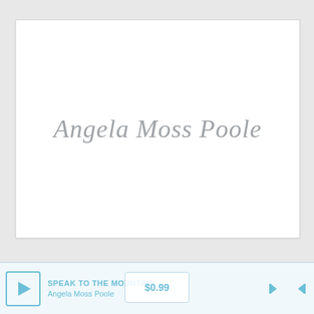[Figure (logo): White rectangular album art card with cursive script text 'Angela Moss Poole' in gray, centered on card]
SPEAK TO THE MOUNTAIN
Angela Moss Poole
$0.99